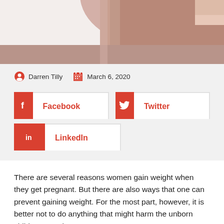[Figure (photo): Cropped photo of a pregnant woman in a pink/mauve dress, arms crossed over belly, light background]
Darren Tilly  March 6, 2020
[Figure (infographic): Social share buttons: Facebook, Twitter, LinkedIn with red icon boxes and white label boxes]
There are several reasons women gain weight when they get pregnant. But there are also ways that one can prevent gaining weight. For the most part, however, it is better not to do anything that might harm the unborn child or even the